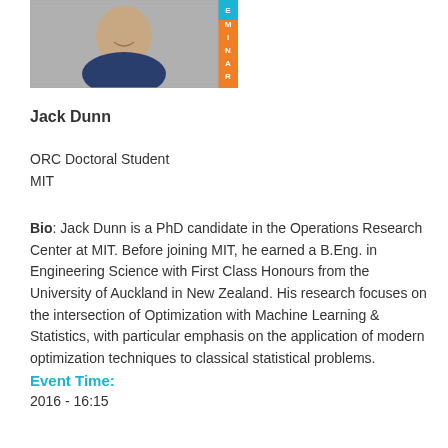[Figure (photo): Headshot photo of Jack Dunn with a vertical orange/teal bar on the right side reading 'SEMINAR']
Jack Dunn
ORC Doctoral Student
MIT
Bio: Jack Dunn is a PhD candidate in the Operations Research Center at MIT. Before joining MIT, he earned a B.Eng. in Engineering Science with First Class Honours from the University of Auckland in New Zealand. His research focuses on the intersection of Optimization with Machine Learning & Statistics, with particular emphasis on the application of modern optimization techniques to classical statistical problems.
Event Time:
2016 - 16:15